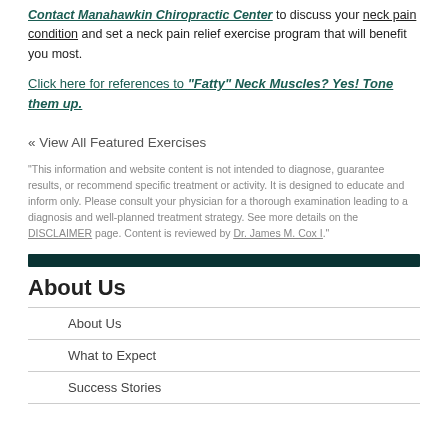Contact Manahawkin Chiropractic Center to discuss your neck pain condition and set a neck pain relief exercise program that will benefit you most.
Click here for references to "Fatty" Neck Muscles? Yes! Tone them up.
« View All Featured Exercises
"This information and website content is not intended to diagnose, guarantee results, or recommend specific treatment or activity. It is designed to educate and inform only. Please consult your physician for a thorough examination leading to a diagnosis and well-planned treatment strategy. See more details on the DISCLAIMER page. Content is reviewed by Dr. James M. Cox I."
About Us
About Us
What to Expect
Success Stories